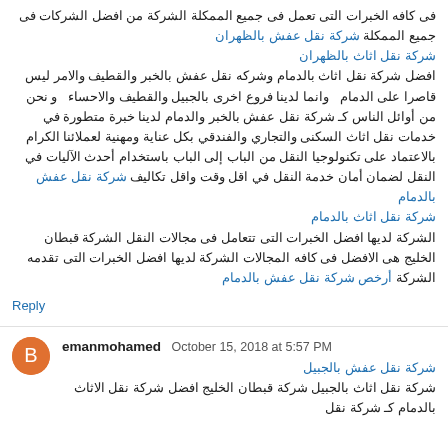فى كافه الخبرات التى تعمل فى جميع الممكلة الشركة من افضل الشركات فى جميع الممكلة شركة نقل عفش بالظهران شركة نقل اثاث بالظهران افضل شركة نقل اثاث بالدمام وشركه نقل عفش بالخبر والقطيف والامر ليس قاصرا على الدمام وانما لدينا فروع اخرى بالجبيل والقطيف والاحساء و نحن من أوائل الناس كـ شركة نقل عفش بالخبر والدمام لدينا خبرة متطورة في خدمات نقل اثاث السكنى والتجاري والفندقي بكل عناية ومهنية لعملائنا الكرام بالاعتماد على تكنولوجيا النقل من الباب إلى الباب باستخدام أحدث الآليات في النقل لضمان أمان خدمة النقل في اقل وقت واقل تكاليف شركة نقل عفش بالدمام شركة نقل اثاث بالدمام الشركة لديها افضل الخبرات التى تتعامل فى مجالات النقل الشركة قبطان الخليج هى الافضل فى كافه المجالات الشركة لديها افضل الخبرات التى تقدمه الشركة أرخص شركة نقل عفش بالدمام
Reply
emanmohamed October 15, 2018 at 5:57 PM
شركة نقل عفش بالجبيل شركة نقل اثاث بالجبيل شركة قبطان الخليج افضل شركة نقل الاثاث بالدمام كـ شركة نقل عفش بالدمام